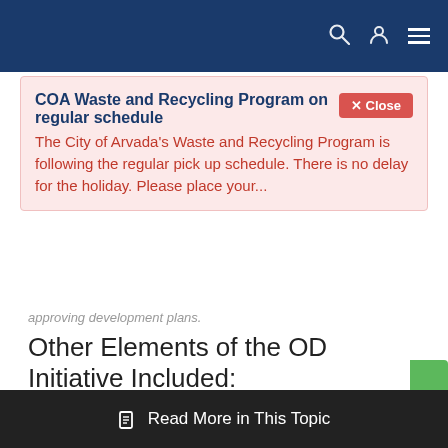Navigation bar with search, user, and menu icons
COA Waste and Recycling Program on regular schedule The City of Arvada's Waste and Recycling Program is following the regular pick up schedule. There is no delay for the holiday. Please place your...
approving development plans.
Other Elements of the OD Initiative Included:
Restructuring the City's hiring process
Ensure the best talent are in the proper positions and best prepared for the changing demands of each job
A new performance review process
Create a culture of accountability
Evaluate employees based on the organization's Vision, Mission, and Values.
Embracing process improvement and innovation
Read More in This Topic